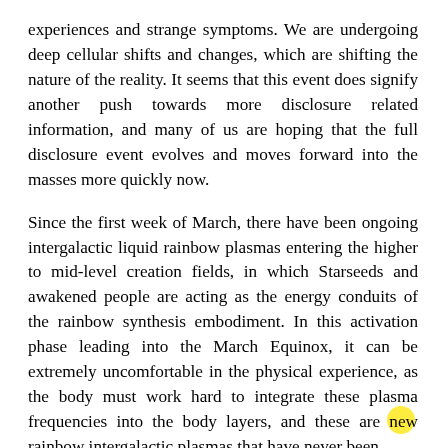experiences and strange symptoms. We are undergoing deep cellular shifts and changes, which are shifting the nature of the reality. It seems that this event does signify another push towards more disclosure related information, and many of us are hoping that the full disclosure event evolves and moves forward into the masses more quickly now.
Since the first week of March, there have been ongoing intergalactic liquid rainbow plasmas entering the higher to mid-level creation fields, in which Starseeds and awakened people are acting as the energy conduits of the rainbow synthesis embodiment. In this activation phase leading into the March Equinox, it can be extremely uncomfortable in the physical experience, as the body must work hard to integrate these plasma frequencies into the body layers, and these are new rainbow intergalactic plasmas that have never been